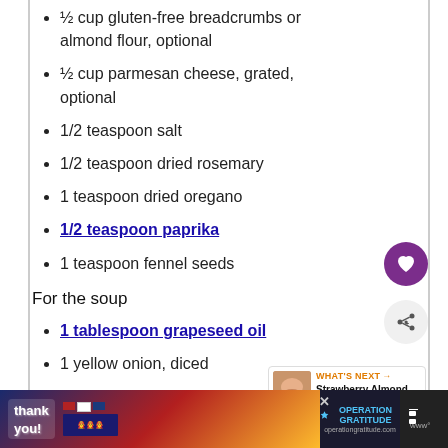½ cup gluten-free breadcrumbs or almond flour, optional
½ cup parmesan cheese, grated, optional
1/2 teaspoon salt
1/2 teaspoon dried rosemary
1 teaspoon dried oregano
1/2 teaspoon paprika
1 teaspoon fennel seeds
For the soup
1 tablespoon grapeseed oil
1 yellow onion, diced
2 large carrots, julienned
2 stalks celery, chopped
6 cloved garlic, minced